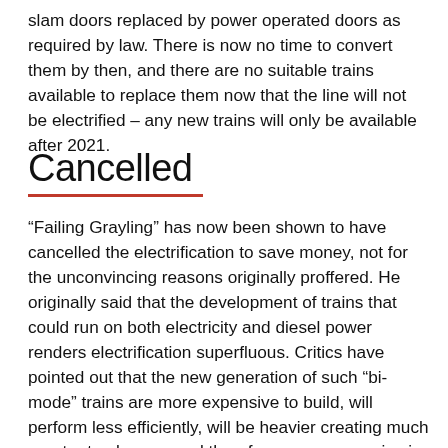slam doors replaced by power operated doors as required by law. There is now no time to convert them by then, and there are no suitable trains available to replace them now that the line will not be electrified – any new trains will only be available after 2021.
Cancelled
“Failing Grayling” has now been shown to have cancelled the electrification to save money, not for the unconvincing reasons originally proffered. He originally said that the development of trains that could run on both electricity and diesel power renders electrification superfluous. Critics have pointed out that the new generation of such “bi-mode” trains are more expensive to build, will perform less efficiently, will be heavier creating much greater track wear, and therefore more expensive in the long term. And such trains contradict the government’s stated aim to abolish diesel trains by